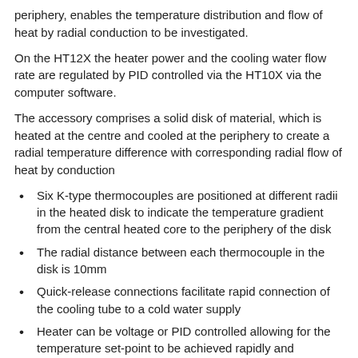periphery, enables the temperature distribution and flow of heat by radial conduction to be investigated.
On the HT12X the heater power and the cooling water flow rate are regulated by PID controlled via the HT10X via the computer software.
The accessory comprises a solid disk of material, which is heated at the centre and cooled at the periphery to create a radial temperature difference with corresponding radial flow of heat by conduction
Six K-type thermocouples are positioned at different radii in the heated disk to indicate the temperature gradient from the central heated core to the periphery of the disk
The radial distance between each thermocouple in the disk is 10mm
Quick-release connections facilitate rapid connection of the cooling tube to a cold water supply
Heater can be voltage or PID controlled allowing for the temperature set-point to be achieved rapidly and maintained within 0.1°C